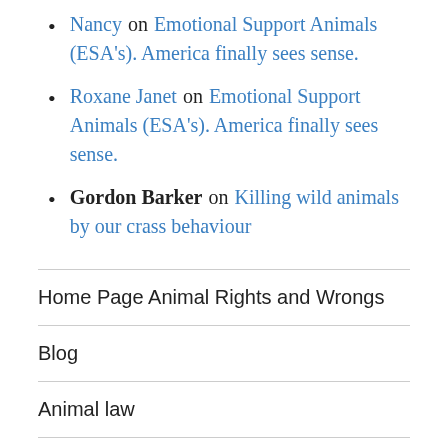Nancy on Emotional Support Animals (ESA's). America finally sees sense.
Roxane Janet on Emotional Support Animals (ESA's). America finally sees sense.
Gordon Barker on Killing wild animals by our crass behaviour
Home Page Animal Rights and Wrongs
Blog
Animal law
Animal Welfare
Pet Keeping